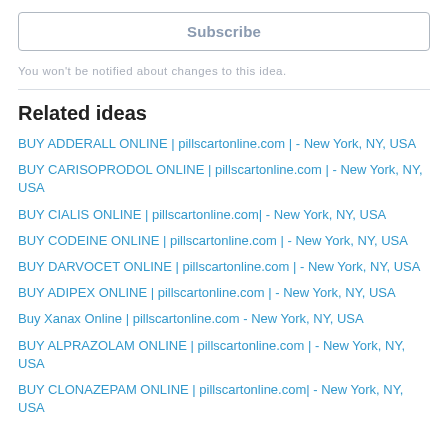Subscribe
You won't be notified about changes to this idea.
Related ideas
BUY ADDERALL ONLINE | pillscartonline.com | - New York, NY, USA
BUY CARISOPRODOL ONLINE | pillscartonline.com | - New York, NY, USA
BUY CIALIS ONLINE | pillscartonline.com| - New York, NY, USA
BUY CODEINE ONLINE | pillscartonline.com | - New York, NY, USA
BUY DARVOCET ONLINE | pillscartonline.com | - New York, NY, USA
BUY ADIPEX ONLINE | pillscartonline.com | - New York, NY, USA
Buy Xanax Online | pillscartonline.com - New York, NY, USA
BUY ALPRAZOLAM ONLINE | pillscartonline.com | - New York, NY, USA
BUY CLONAZEPAM ONLINE | pillscartonline.com| - New York, NY, USA